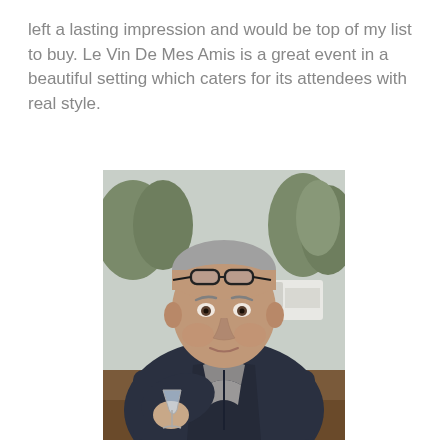left a lasting impression and would be top of my list to buy. Le Vin De Mes Amis is a great event in a beautiful setting which caters for its attendees with real style.
[Figure (photo): A middle-aged man with short grey hair and glasses on his head, wearing a dark navy fleece jacket, holding a wine glass with a clear liquid, seated outdoors with trees and a white van in the blurred background.]